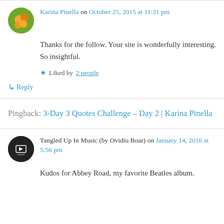Karina Pinella on October 25, 2015 at 11:21 pm
Thanks for the follow. Your site is wonderfully interesting. So insightful.
Liked by 2 people
↳ Reply
Pingback: 3-Day 3 Quotes Challenge – Day 2 | Karina Pinella
Tangled Up In Music (by Ovidiu Boar) on January 14, 2016 at 5:56 pm
Kudos for Abbey Road, my favorite Beatles album.